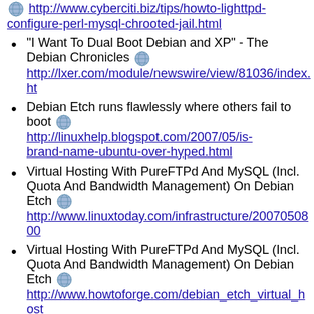http://www.cyberciti.biz/tips/howto-lighttpd-configure-perl-mysql-chrooted-jail.html
"I Want To Dual Boot Debian and XP" - The Debian Chronicles  http://lxer.com/module/newswire/view/81036/index.ht
Debian Etch runs flawlessly where others fail to boot  http://linuxhelp.blogspot.com/2007/05/is-brand-name-ubuntu-over-hyped.html
Virtual Hosting With PureFTPd And MySQL (Incl. Quota And Bandwidth Management) On Debian Etch  http://www.linuxtoday.com/infrastructure/2007050800
Virtual Hosting With PureFTPd And MySQL (Incl. Quota And Bandwidth Management) On Debian Etch  http://www.howtoforge.com/debian_etch_virtual_host
Tech people at Roaring Penguim use Debian GNU / Linux